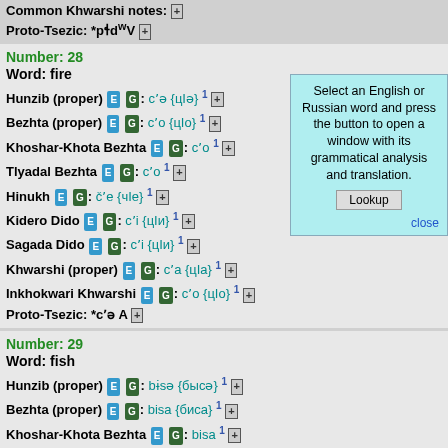Common Khwarshi notes: [+] Proto-Tsezic: *pɬdʷV [+]
Number: 28 Word: fire
Hunzib (proper) E G: cʼə {цIə} 1 [+]
Bezhta (proper) E G: cʼo {цIo} 1 [+]
Khoshar-Khota Bezhta E G: cʼo 1 [+]
Tlyadal Bezhta E G: cʼo 1 [+]
Hinukh E G: čʼe {чIe} 1 [+]
Kidero Dido E G: cʼi {цIи} 1 [+]
Sagada Dido E G: cʼi {цIи} 1 [+]
Khwarshi (proper) E G: cʼa {цIa} 1 [+]
Inkhokwari Khwarshi E G: cʼo {цIo} 1 [+]
Proto-Tsezic: *cʼə A [+]
[Figure (other): Lookup popup box — Select an English or Russian word and press the button to open a window with its grammatical analysis and translation. Lookup / close]
Number: 29 Word: fish
Hunzib (proper) E G: bɨsə {бысə} 1 [+]
Bezhta (proper) E G: bisa {биса} 1 [+]
Khoshar-Khota Bezhta E G: bisa 1 [+]
Tlyadal Bezhta E G: bisa 1 [+]